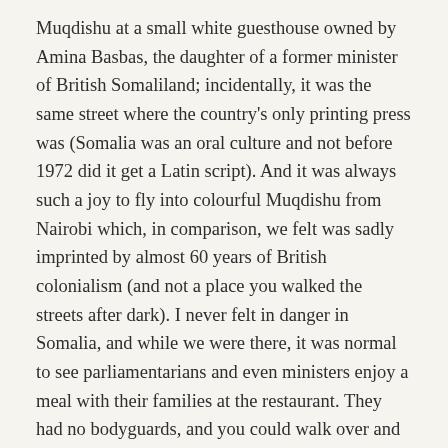Muqdishu at a small white guesthouse owned by Amina Basbas, the daughter of a former minister of British Somaliland; incidentally, it was the same street where the country's only printing press was (Somalia was an oral culture and not before 1972 did it get a Latin script). And it was always such a joy to fly into colourful Muqdishu from Nairobi which, in comparison, we felt was sadly imprinted by almost 60 years of British colonialism (and not a place you walked the streets after dark). I never felt in danger in Somalia, and while we were there, it was normal to see parliamentarians and even ministers enjoy a meal with their families at the restaurant. They had no bodyguards, and you could walk over and greet them. In